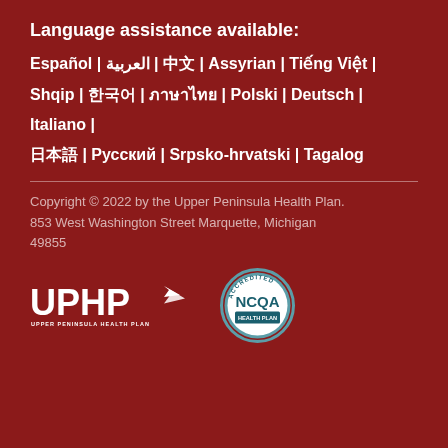Language assistance available:
Español | العربية | 中文 | Assyrian | Tiếng Việt | Shqip | 한국어 | ภาษาไทย | Polski | Deutsch | Italiano | 日本語 | Русский | Srpsko-hrvatski | Tagalog
Copyright © 2022 by the Upper Peninsula Health Plan. 853 West Washington Street Marquette, Michigan 49855
[Figure (logo): UPHP Upper Peninsula Health Plan logo in white]
[Figure (logo): NCQA Accredited Health Plan badge]